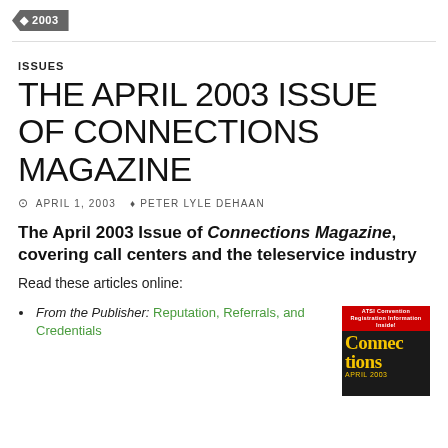2003
ISSUES
THE APRIL 2003 ISSUE OF CONNECTIONS MAGAZINE
APRIL 1, 2003   PETER LYLE DEHAAN
The April 2003 Issue of Connections Magazine, covering call centers and the teleservice industry
Read these articles online:
From the Publisher: Reputation, Referrals, and Credentials
[Figure (photo): Cover of Connections Magazine April 2003 issue, dark background with yellow title text and red banner reading ATSI Convention Registration Information Inside!]